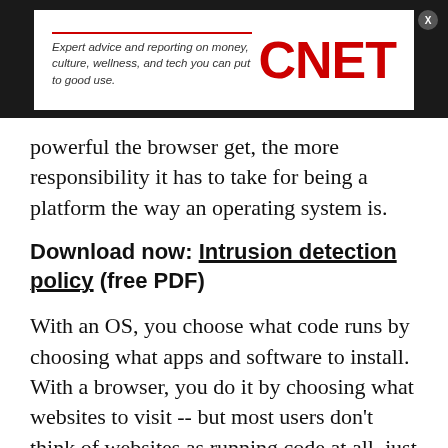[Figure (logo): CNET advertisement banner with text 'Expert advice and reporting on money, culture, wellness, and tech you can put to good use.' and CNET logo in red]
powerful the browser get, the more responsibility it has to take for being a platform the way an operating system is.
Download now: Intrusion detection policy (free PDF)
With an OS, you choose what code runs by choosing what apps and software to install. With a browser, you do it by choosing what websites to visit -- but most users don't think of websites as running code at all, just text, pictures, and videos. That means the browser needs to work a little harder protect us from anything we might come